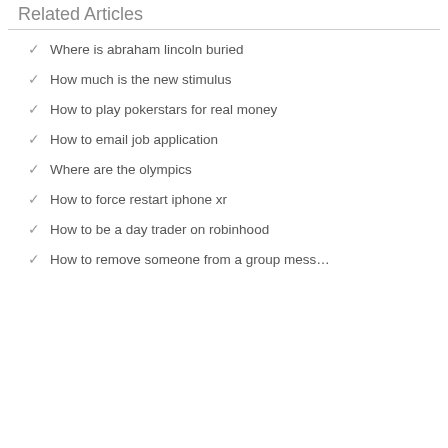Related Articles
Where is abraham lincoln buried
How much is the new stimulus
How to play pokerstars for real money
How to email job application
Where are the olympics
How to force restart iphone xr
How to be a day trader on robinhood
How to remove someone from a group mess…